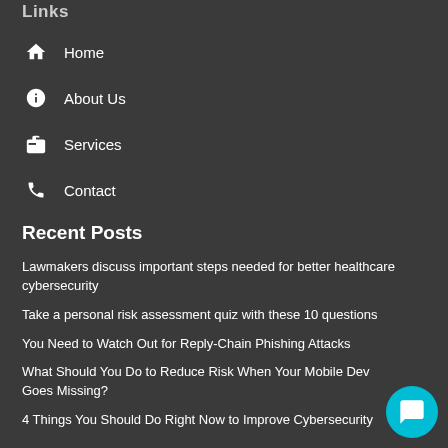Links
Home
About Us
Services
Contact
Recent Posts
Lawmakers discuss important steps needed for better healthcare cybersecurity
Take a personal risk assessment quiz with these 10 questions
You Need to Watch Out for Reply-Chain Phishing Attacks
What Should You Do to Reduce Risk When Your Mobile Device Goes Missing?
4 Things You Should Do Right Now to Improve Cybersecurity